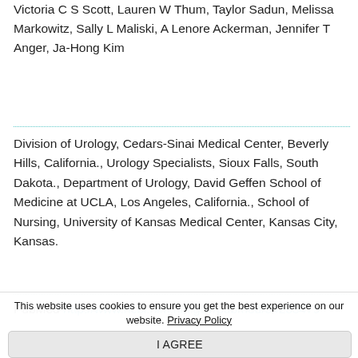Victoria C S Scott, Lauren W Thum, Taylor Sadun, Melissa Markowitz, Sally L Maliski, A Lenore Ackerman, Jennifer T Anger, Ja-Hong Kim
Division of Urology, Cedars-Sinai Medical Center, Beverly Hills, California., Urology Specialists, Sioux Falls, South Dakota., Department of Urology, David Geffen School of Medicine at UCLA, Los Angeles, California., School of Nursing, University of Kansas Medical Center, Kansas City, Kansas.
PubMed http://www.ncbi.nlm.nih.gov/pubmed/34233479
Introducing the My Bladder app for providers and patients
This website uses cookies to ensure you get the best experience on our website. Privacy Policy
I AGREE